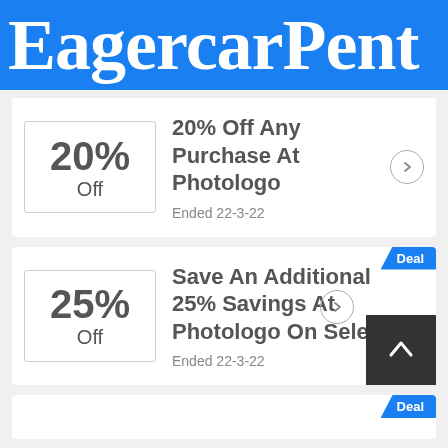EagercarPent
20% Off — 20% Off Any Purchase At Photologo, Ended 22-3-22
25% Off — Save An Additional 25% Savings At Photologo On Sele..., Ended 22-3-22